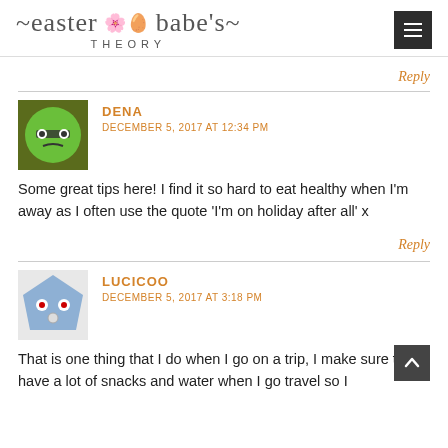easter babe's THEORY
Reply
DENA
DECEMBER 5, 2017 AT 12:34 PM
Some great tips here! I find it so hard to eat healthy when I'm away as I often use the quote 'I'm on holiday after all' x
Reply
LUCICOO
DECEMBER 5, 2017 AT 3:18 PM
That is one thing that I do when I go on a trip, I make sure to have a lot of snacks and water when I go travel so I